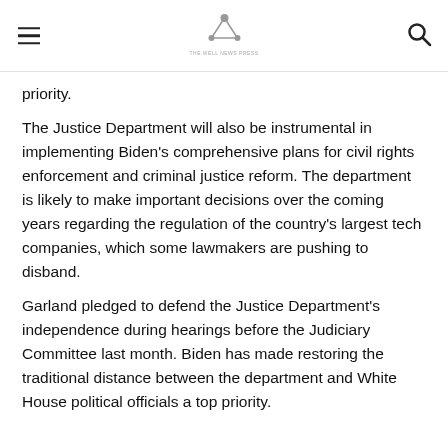[hamburger menu] [The Well News logo] [search icon]
priority.
The Justice Department will also be instrumental in implementing Biden's comprehensive plans for civil rights enforcement and criminal justice reform. The department is likely to make important decisions over the coming years regarding the regulation of the country's largest tech companies, which some lawmakers are pushing to disband.
Garland pledged to defend the Justice Department's independence during hearings before the Judiciary Committee last month. Biden has made restoring the traditional distance between the department and White House political officials a top priority.